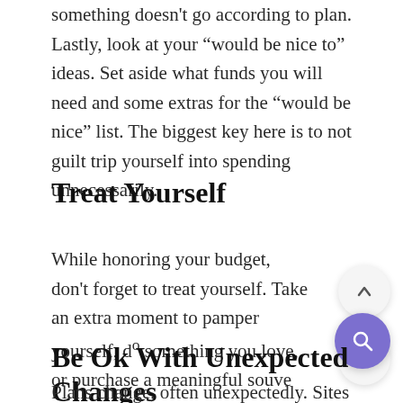something doesn't go according to plan. Lastly, look at your “would be nice to” ideas. Set aside what funds you will need and some extras for the “would be nice” list. The biggest key here is to not guilt trip yourself into spending unnecessarily.
Treat Yourself
While honoring your budget, don’t forget to treat yourself. Take an extra moment to pamper yourself, do something you love, or purchase a meaningful souve
Be Ok With Unexpected Changes
Plans change, often unexpectedly. Sites close, planes